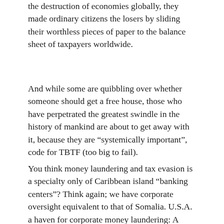the destruction of economies globally, they made ordinary citizens the losers by sliding their worthless pieces of paper to the balance sheet of taxpayers worldwide.
And while some are quibbling over whether someone should get a free house, those who have perpetrated the greatest swindle in the history of mankind are about to get away with it, because they are “systemically important”, code for TBTF (too big to fail).
You think money laundering and tax evasion is a specialty only of Caribbean island “banking centers”? Think again; we have corporate oversight equivalent to that of Somalia. U.S.A. a haven for corporate money laundering: A little house of secrets on the Great Plains:
Among the firm’s offerings is a variety of shell known as a “shelf” company, which comes with years of regulatory filings behind it, lending a greater feeling of solidity.